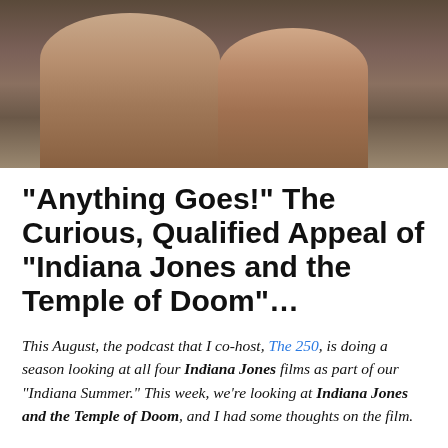[Figure (photo): Two figures in an outdoor scene, appearing to be from the Indiana Jones and the Temple of Doom film]
“Anything Goes!” The Curious, Qualified Appeal of “Indiana Jones and the Temple of Doom”…
This August, the podcast that I co-host, The 250, is doing a season looking at all four Indiana Jones films as part of our “Indiana Summer.” This week, we’re looking at Indiana Jones and the Temple of Doom, and I had some thoughts on the film.
Indiana Jones and the Temple of Doom occupies an interesting space in the cultural consciousness